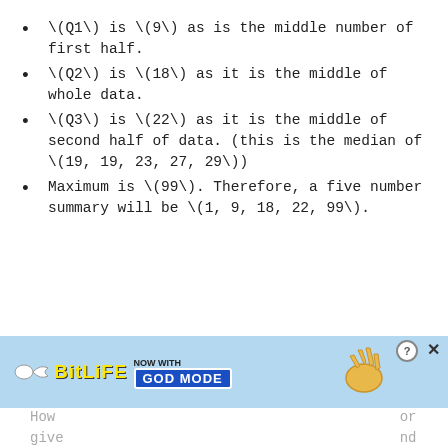\(Q1\) is \(9\) as is the middle number of first half.
\(Q2\) is \(18\) as it is the middle of whole data.
\(Q3\) is \(22\) as it is the middle of second half of data. (this is the median of \(19, 19, 23, 27, 29\))
Maximum is \(99\). Therefore, a five number summary will be \(1, 9, 18, 22, 99\).
[Figure (screenshot): BitLife advertisement banner with sperm logo, 'NOW WITH GOD MODE' button, pointing hand, help icon, and close X button on a light blue background.]
How ... or give ... and